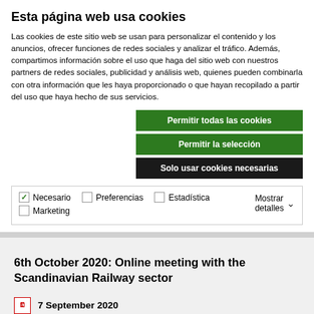Esta página web usa cookies
Las cookies de este sitio web se usan para personalizar el contenido y los anuncios, ofrecer funciones de redes sociales y analizar el tráfico. Además, compartimos información sobre el uso que haga del sitio web con nuestros partners de redes sociales, publicidad y análisis web, quienes pueden combinarla con otra información que les haya proporcionado o que hayan recopilado a partir del uso que haya hecho de sus servicios.
Permitir todas las cookies
Permitir la selección
Solo usar cookies necesarias
Necesario  Preferencias  Estadística  Marketing  Mostrar detalles
6th October 2020: Online meeting with the Scandinavian Railway sector
7 September 2020